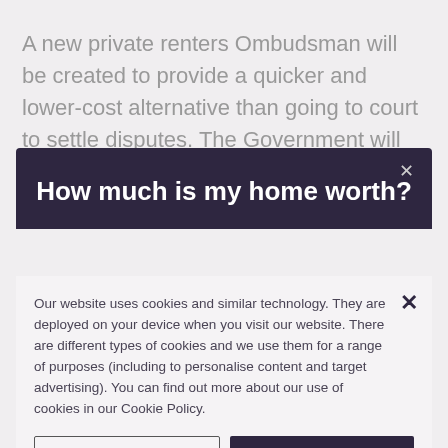A new private renters Ombudsman will be created to provide a quicker and lower-cost alternative than going to court to settle disputes. The Government will create a single government
How much is my home worth?
Our website uses cookies and similar technology. They are deployed on your device when you visit our website. There are different types of cookies and we use them for a range of purposes (including to personalise content and target advertising). You can find out more about our use of cookies in our Cookie Policy.
Cookies Settings | Accept All Cookies